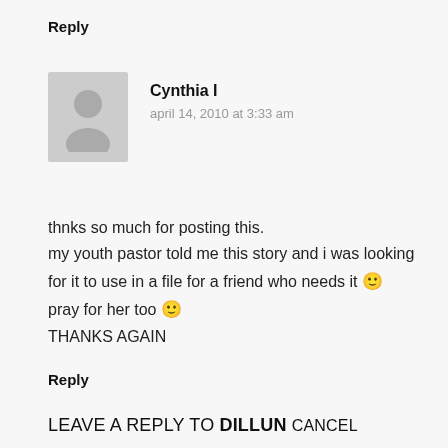Reply
Cynthia I
april 14, 2010 at 3:33 am
thnks so much for posting this.
my youth pastor told me this story and i was looking for it to use in a file for a friend who needs it 🙂
pray for her too 🙂
THANKS AGAIN
Reply
LEAVE A REPLY TO DILLUN CANCEL